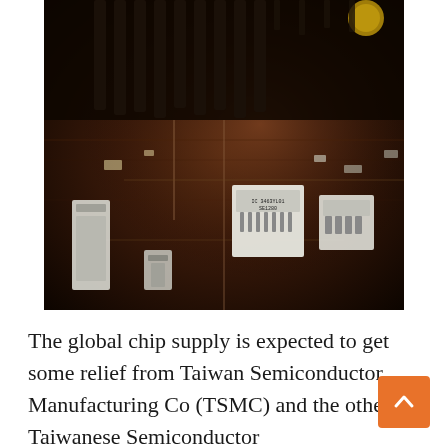[Figure (photo): Close-up macro photograph of a printed circuit board (PCB) showing various electronic components including integrated circuit chips, connectors, and other components against a dark brown/copper board surface.]
The global chip supply is expected to get some relief from Taiwan Semiconductor Manufacturing Co (TSMC) and the other Taiwanese Semiconductor